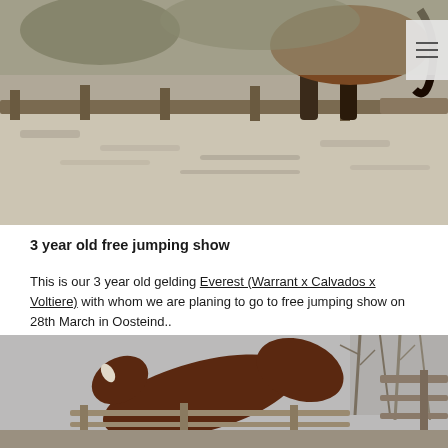[Figure (photo): Close-up photo of a horse's legs trotting in a sandy arena with wooden fence in background]
3 year old free jumping show
This is our 3 year old gelding Everest (Warrant x Calvados x Voltiere) with whom we are planing to go to free jumping show on 28th March in Oosteind..
[Figure (photo): Photo of a bay horse jumping over a fence in an outdoor paddock with bare trees in the background]